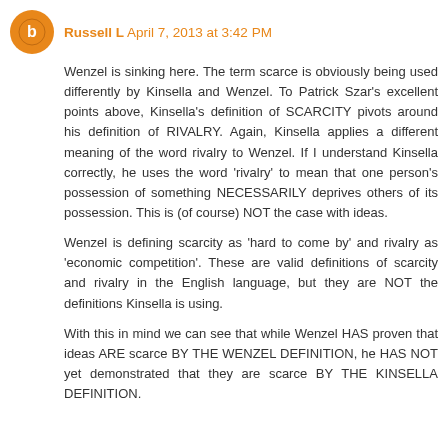Russell L April 7, 2013 at 3:42 PM
Wenzel is sinking here. The term scarce is obviously being used differently by Kinsella and Wenzel. To Patrick Szar's excellent points above, Kinsella's definition of SCARCITY pivots around his definition of RIVALRY. Again, Kinsella applies a different meaning of the word rivalry to Wenzel. If I understand Kinsella correctly, he uses the word 'rivalry' to mean that one person's possession of something NECESSARILY deprives others of its possession. This is (of course) NOT the case with ideas.
Wenzel is defining scarcity as 'hard to come by' and rivalry as 'economic competition'. These are valid definitions of scarcity and rivalry in the English language, but they are NOT the definitions Kinsella is using.
With this in mind we can see that while Wenzel HAS proven that ideas ARE scarce BY THE WENZEL DEFINITION, he HAS NOT yet demonstrated that they are scarce BY THE KINSELLA DEFINITION.